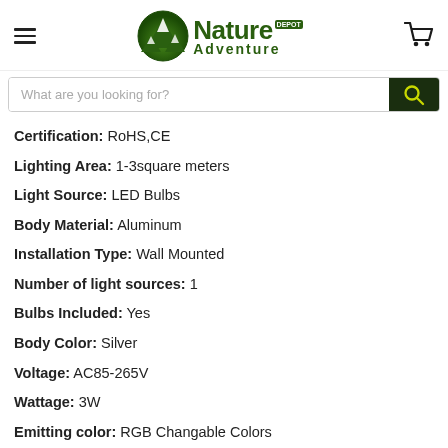[Figure (logo): Nature Adventure Depot logo with green mountain circle icon and green bold text]
What are you looking for?
Certification: RoHS,CE
Lighting Area: 1-3square meters
Light Source: LED Bulbs
Body Material: Aluminum
Installation Type: Wall Mounted
Number of light sources: 1
Bulbs Included: Yes
Body Color: Silver
Voltage: AC85-265V
Wattage: 3W
Emitting color: RGB Changable Colors
Lighting effect: Spiral